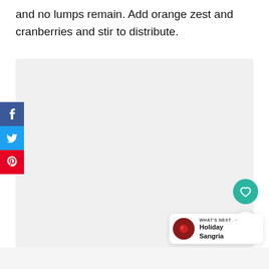and no lumps remain. Add orange zest and cranberries and stir to distribute.
[Figure (photo): Large light gray placeholder image area for a recipe photo, occupying most of the page below the text.]
WHAT'S NEXT → Holiday Sangria